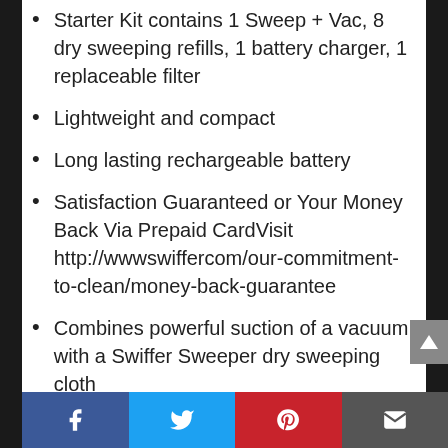Starter Kit contains 1 Sweep + Vac, 8 dry sweeping refills, 1 battery charger, 1 replaceable filter
Lightweight and compact
Long lasting rechargeable battery
Satisfaction Guaranteed or Your Money Back Via Prepaid CardVisit http://wwwswiffercom/our-commitment-to-clean/money-back-guarantee
Combines powerful suction of a vacuum with a Swiffer Sweeper dry sweeping cloth
Starter Kit contains 1 Sweep + Vac,
Facebook | Twitter | Pinterest | Email